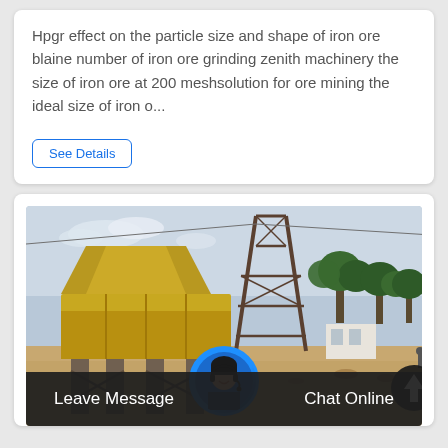Hpgr effect on the particle size and shape of iron ore blaine number of iron ore grinding zenith machinery the size of iron ore at 200 meshsolution for ore mining the ideal size of iron o...
See Details
[Figure (photo): Outdoor photo of a large yellow industrial ore crushing/grinding machine elevated on a steel platform at a mining site, with steel scaffolding tower, trees, and open dry ground in the background under a hazy sky.]
Leave Message
Chat Online